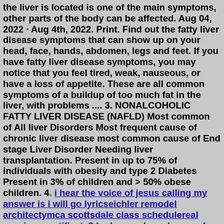the liver is located is one of the main symptoms, other parts of the body can be affected. Aug 04, 2022 · Aug 4th, 2022. Print. Find out the fatty liver disease symptoms that can show up on your head, face, hands, abdomen, legs and feet. If you have fatty liver disease symptoms, you may notice that you feel tired, weak, nauseous, or have a loss of appetite. These are all common symptoms of a buildup of too much fat in the liver, with problems .... 3. NONALCOHOLIC FATTY LIVER DISEASE (NAFLD) Most common of All liver Disorders Most frequent cause of chronic liver disease most common cause of End stage Liver Disorder Needing liver transplantation. Present in up to 75% of individuals with obesity and type 2 Diabetes Present in 3% of children and > 50% obese children. 4. i hear the voice of jesus calling my answer is i will go lyricseichler remodel architectymca scottsdale class schedulereal marriage certificate3 bedroom cheap houses for rent near mealcohol beverage control test answerspublic health consulting jobswalmart deli hot wings ingredientsring chime